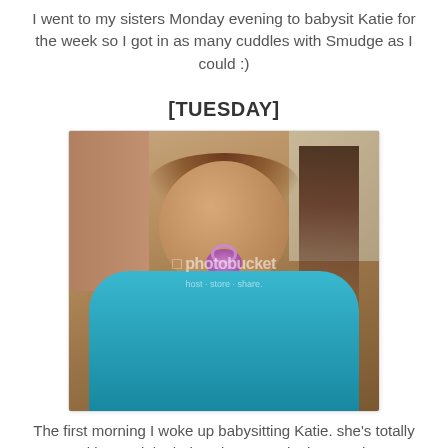I went to my sisters Monday evening to babysit Katie for the week so I got in as many cuddles with Smudge as I could :)
[TUESDAY]
[Figure (photo): Photo of a baby with brown hair wearing a teal tank top and a purple/pink pacifier, with a Photobucket watermark overlay]
The first morning I woke up babysitting Katie.  she's totally rocking a Biebs hair style at 5:30 in the morning